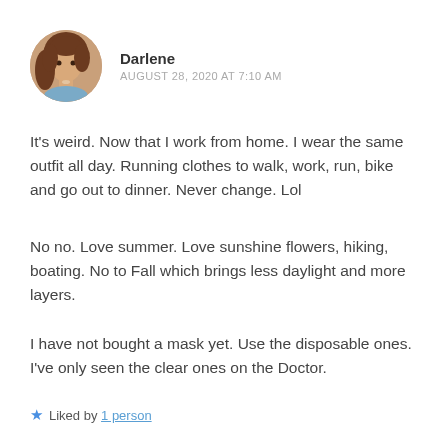[Figure (photo): Circular avatar photo of a woman with curly brown hair]
Darlene
AUGUST 28, 2020 AT 7:10 AM
It's weird. Now that I work from home. I wear the same outfit all day. Running clothes to walk, work, run, bike and go out to dinner. Never change. Lol
No no. Love summer. Love sunshine flowers, hiking, boating. No to Fall which brings less daylight and more layers.
I have not bought a mask yet. Use the disposable ones. I've only seen the clear ones on the Doctor.
★ Liked by 1 person